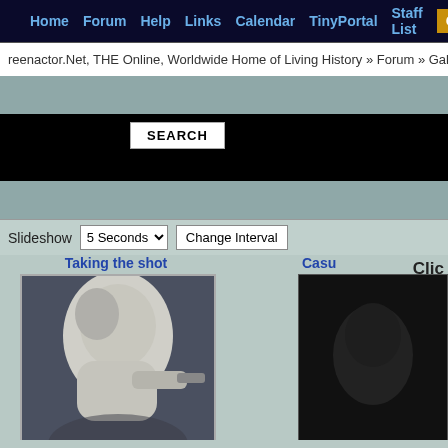Home  Forum  Help  Links  Calendar  TinyPortal  Staff List  Gallery
reenactor.Net, THE Online, Worldwide Home of Living History » Forum » Galle
[Figure (screenshot): Search bar area with dark background and SEARCH button]
[Figure (screenshot): Slideshow controls row with '5 Seconds' dropdown and 'Change Interval' button]
Clic
Taking the shot
[Figure (photo): A person in white clothing aiming or shooting, black and white toned photo]
Casu